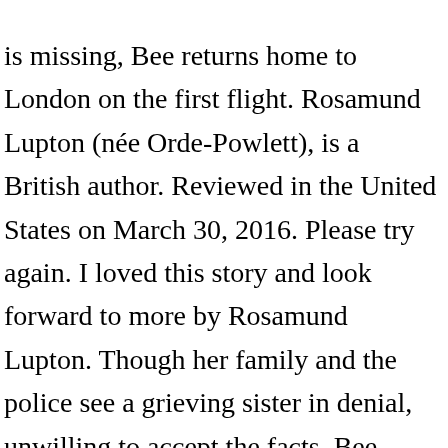is missing, Bee returns home to London on the first flight. Rosamund Lupton (née Orde-Powlett), is a British author. Reviewed in the United States on March 30, 2016. Please try again. I loved this story and look forward to more by Rosamund Lupton. Though her family and the police see a grieving sister in denial, unwilling to accept the facts, Bee uncovers the affair Tess was having with a married man and the pregnancy that resulted, and her difficultly with a stalker who may have crossed the line when Tess refused his advances. Single-minded in her search for a killer, Bee moves into